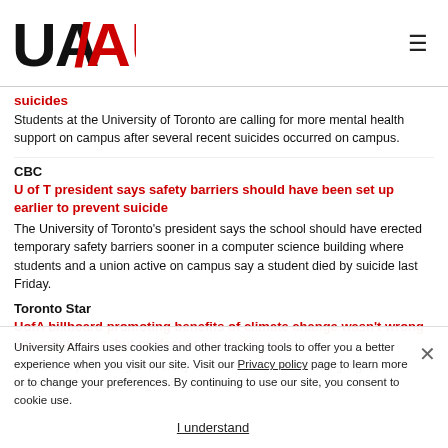[Figure (logo): University Affairs / AU logo in black and red]
suicides
Students at the University of Toronto are calling for more mental health support on campus after several recent suicides occurred on campus.
CBC
U of T president says safety barriers should have been set up earlier to prevent suicide
The University of Toronto's president says the school should have erected temporary safety barriers sooner in a computer science building where students and a union active on campus say a student died by suicide last Friday.
Toronto Star
UofA billboard promoting benefits of climate change wasn't wrong say supporters, but professor needed to resign
A billboard promoting University of Alberta research that highlights the benefits of climate change has sparked
University Affairs uses cookies and other tracking tools to offer you a better experience when you visit our site. Visit our Privacy policy page to learn more or to change your preferences. By continuing to use our site, you consent to cookie use.
I understand